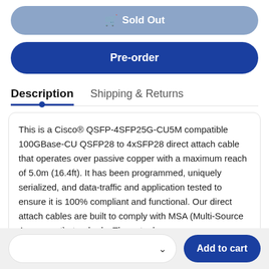🛒 Sold Out
Pre-order
Description
Shipping & Returns
This is a Cisco® QSFP-4SFP25G-CU5M compatible 100GBase-CU QSFP28 to 4xSFP28 direct attach cable that operates over passive copper with a maximum reach of 5.0m (16.4ft). It has been programmed, uniquely serialized, and data-traffic and application tested to ensure it is 100% compliant and functional. Our direct attach cables are built to comply with MSA (Multi-Source Agreement) standards. The actual
Add to cart